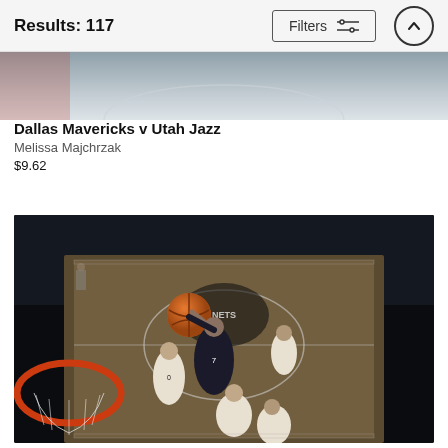Results: 117  Filters
[Figure (photo): Partial top view of a basketball court photo - top of a product listing card, cropped]
Dallas Mavericks v Utah Jazz
Melissa Majchrzak
$9.62
[Figure (photo): Basketball game photo taken from above the basket, showing a player in dark jersey going up for a layup with an orange-red rim visible in foreground, several other players around, Barclays Center court visible]